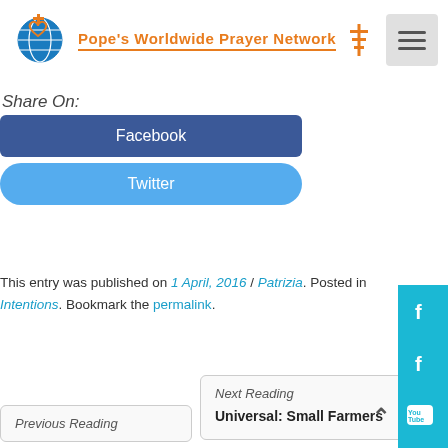[Figure (logo): Pope's Worldwide Prayer Network logo with globe icon and orange text]
Share On:
Facebook
Twitter
This entry was published on 1 April, 2016 / Patrizia. Posted in Intentions. Bookmark the permalink.
Next Reading
Universal: Small Farmers
Previous Reading